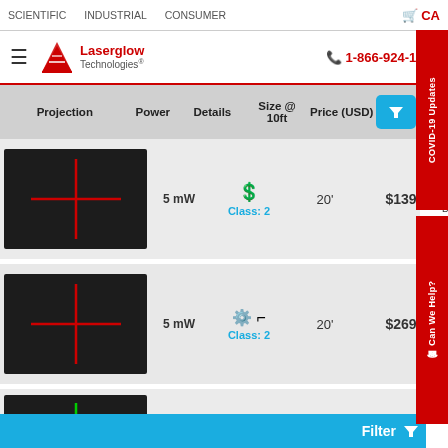SCIENTIFIC | INDUSTRIAL | CONSUMER | CART
[Figure (logo): Laserglow Technologies logo with red triangular icon and brand name, phone number 1-866-924-1673]
| Projection | Power | Details | Size @ 10ft | Price (USD) |  |
| --- | --- | --- | --- | --- | --- |
| [red crosshair image] | 5 mW | Class: 2 | 20' | $139 | BCR005XXX / Specs |
| [red crosshair image] | 5 mW | Class: 2 | 20' | $269 | BCP005XXX / Specs |
| [green crosshair image] | 5 mW | Class: 2 | 3'6" | $329 | BCU005847 / Specs |